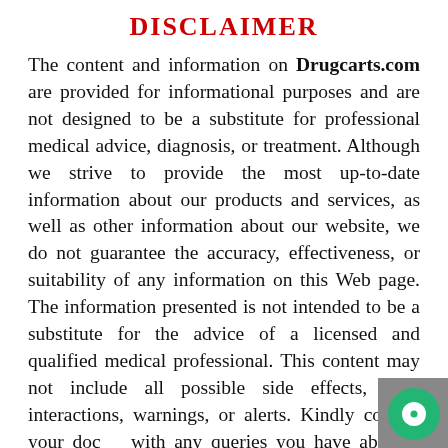DISCLAIMER
The content and information on Drugcarts.com are provided for informational purposes and are not designed to be a substitute for professional medical advice, diagnosis, or treatment. Although we strive to provide the most up-to-date information about our products and services, as well as other information about our website, we do not guarantee the accuracy, effectiveness, or suitability of any information on this Web page. The information presented is not intended to be a substitute for the advice of a licensed and qualified medical professional. This content may not include all possible side effects, drug interactions, warnings, or alerts. Kindly consult your doctor with any queries you have about a disease or